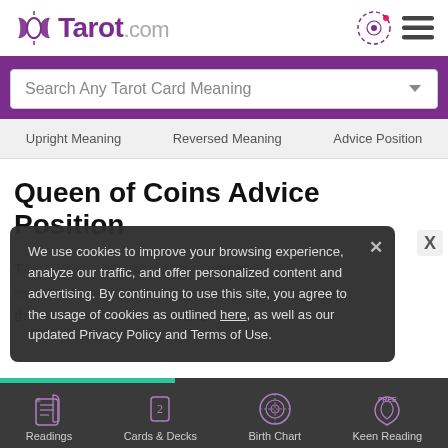Tarot.com
Search Any Tarot Card Meaning
Upright Meaning   Reversed Meaning   Advice Position
Queen of Coins Advice Position
The Queen of Coins advises you to trust the forces that have taken care of you up to this point, and continue with...
We use cookies to improve your browsing experience, analyze our traffic, and offer personalized content and advertising. By continuing to use this site, you agree to the usage of cookies as outlined here, as well as our updated Privacy Policy and Terms of Use.
Readings   Cards & Decks   Birth Chart   Keen Reading